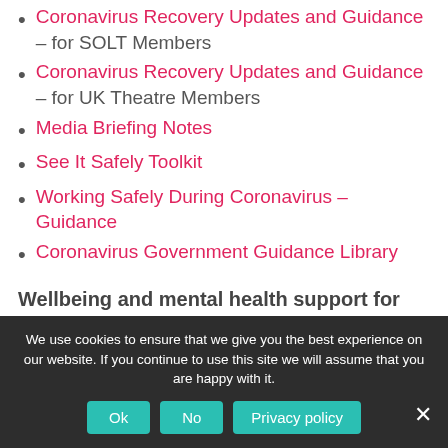Coronavirus Recovery Updates and Guidance – for SOLT Members
Coronavirus Recovery Updates and Guidance – for UK Theatre Members
Media Briefing Notes
See It Safely Toolkit
Working Safely During Coronavirus – Guidance
Coronavirus Government Guidance Library
Wellbeing and mental health support for you
We use cookies to ensure that we give you the best experience on our website. If you continue to use this site we will assume that you are happy with it.
Ok | No | Privacy policy